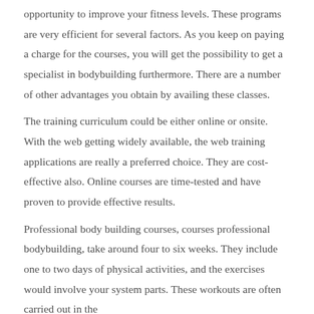opportunity to improve your fitness levels. These programs are very efficient for several factors. As you keep on paying a charge for the courses, you will get the possibility to get a specialist in bodybuilding furthermore. There are a number of other advantages you obtain by availing these classes.
The training curriculum could be either online or onsite. With the web getting widely available, the web training applications are really a preferred choice. They are cost-effective also. Online courses are time-tested and have proven to provide effective results.
Professional body building courses, courses professional bodybuilding, take around four to six weeks. They include one to two days of physical activities, and the exercises would involve your system parts. These workouts are often carried out in the